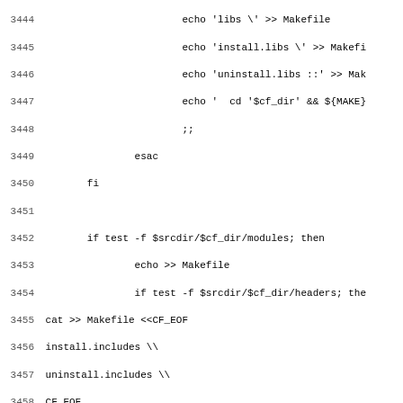Source code / shell script lines 3444-3475 showing Makefile generation logic including echo, esac, fi, if test, cat heredocs, and variable references.